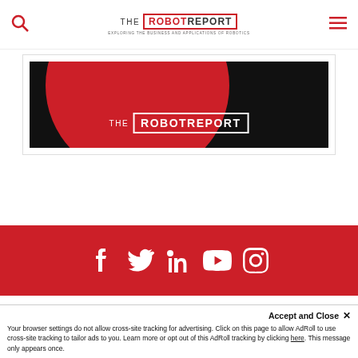THE ROBOTREPORT — EXPLORING THE BUSINESS AND APPLICATIONS OF ROBOTICS
[Figure (logo): The Robot Report banner image with dark background, red circle, and white logo text THE ROBOTREPORT in bordered box]
[Figure (other): Social media icon bar with red background showing Facebook, Twitter, LinkedIn, YouTube, and Instagram icons in white]
Accept and Close ✕
Your browser settings do not allow cross-site tracking for advertising. Click on this page to allow AdRoll to use cross-site tracking to tailor ads to you. Learn more or opt out of this AdRoll tracking by clicking here. This message only appears once.